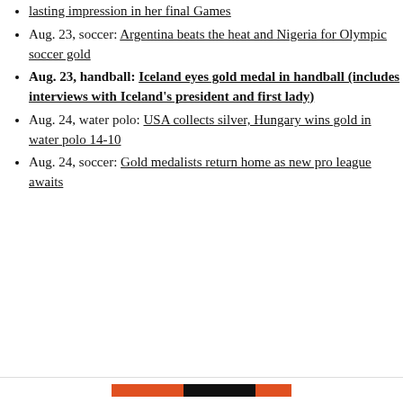lasting impression in her final Games
Aug. 23, soccer: Argentina beats the heat and Nigeria for Olympic soccer gold
Aug. 23, handball: Iceland eyes gold medal in handball (includes interviews with Iceland's president and first lady)
Aug. 24, water polo: USA collects silver, Hungary wins gold in water polo 14-10
Aug. 24, soccer: Gold medalists return home as new pro league awaits
Privacy & Cookies: This site uses cookies. By continuing to use this website, you agree to their use. To find out more, including how to control cookies, see here: Cookie Policy
Close and accept